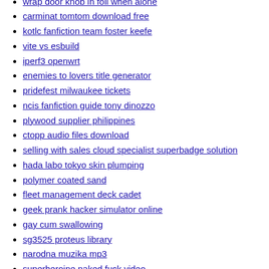wrap door knob in foil when alone
carminat tomtom download free
kotlc fanfiction team foster keefe
vite vs esbuild
iperf3 openwrt
enemies to lovers title generator
pridefest milwaukee tickets
ncis fanfiction guide tony dinozzo
plywood supplier philippines
ctopp audio files download
selling with sales cloud specialist superbadge solution
hada labo tokyo skin plumping
polymer coated sand
fleet management deck cadet
geek prank hacker simulator online
gay cum swallowing
sg3525 proteus library
narodna muzika mp3
superheroine naked fuck video
creality slicer software download free
smok arcfox manual pdf
food content writing examples
monster patch pes 2021 ps4 download
keithley 2400 sweep labview
best magical girl anime